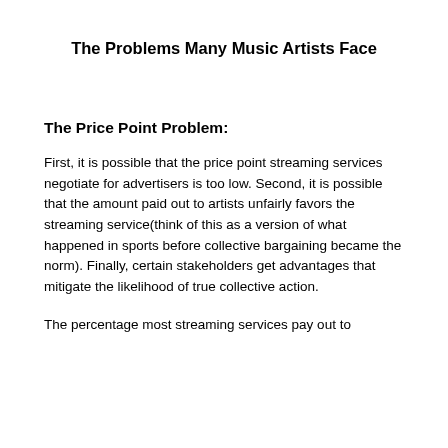The Problems Many Music Artists Face
The Price Point Problem:
First, it is possible that the price point streaming services negotiate for advertisers is too low. Second, it is possible that the amount paid out to artists unfairly favors the streaming service(think of this as a version of what happened in sports before collective bargaining became the norm). Finally, certain stakeholders get advantages that mitigate the likelihood of true collective action.
The percentage most streaming services pay out to